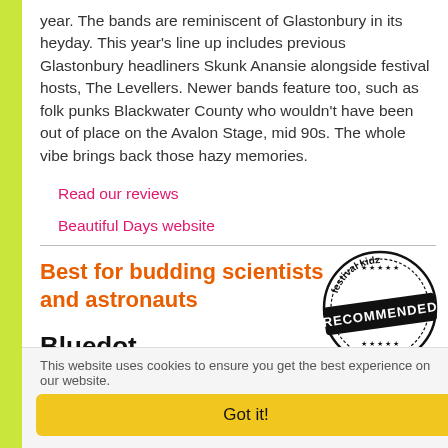year. The bands are reminiscent of Glastonbury in its heyday. This year's line up includes previous Glastonbury headliners Skunk Anansie alongside festival hosts, The Levellers. Newer bands feature too, such as folk punks Blackwater County who wouldn't have been out of place on the Avalon Stage, mid 90s. The whole vibe brings back those hazy memories.
Read our reviews
Beautiful Days website
Best for budding scientists and astronauts
[Figure (illustration): Festival Kidz Recommended 2019 stamp/seal logo in black and white]
Bluedot
Cheshire
18th – 21st July 2019
This website uses cookies to ensure you get the best experience on our website.
Got it!